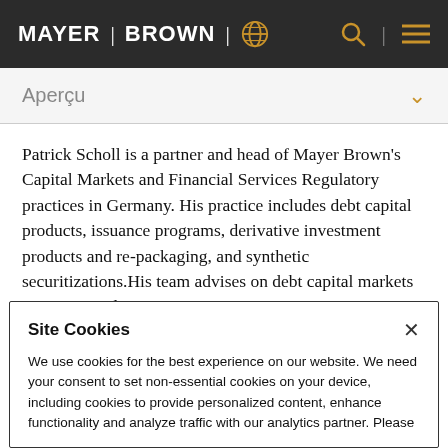MAYER | BROWN
Aperçu
Patrick Scholl is a partner and head of Mayer Brown's Capital Markets and Financial Services Regulatory practices in Germany. His practice includes debt capital products, issuance programs, derivative investment products and re-packaging, and synthetic securitizations.His team advises on debt capital markets issuances and
Site Cookies

We use cookies for the best experience on our website. We need your consent to set non-essential cookies on your device, including cookies to provide personalized content, enhance functionality and analyze traffic with our analytics partner. Please